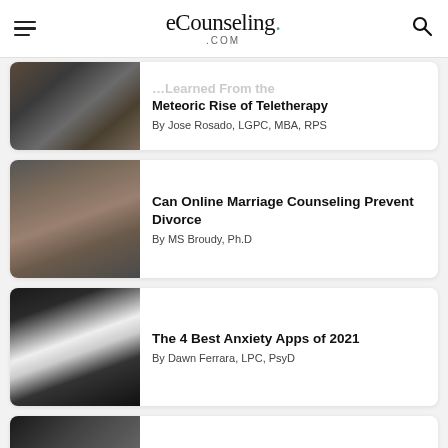eCounseling.com
[Figure (screenshot): Article thumbnail: hands on laptop keyboard]
Meteoric Rise of Teletherapy
By Jose Rosado, LGPC, MBA, RPS
[Figure (photo): Article thumbnail: two people sitting across from each other, a couple]
Can Online Marriage Counseling Prevent Divorce
By MS Broudy, Ph.D
[Figure (photo): Article thumbnail: man in hoodie sitting looking at phone]
The 4 Best Anxiety Apps of 2021
By Dawn Ferrara, LPC, PsyD
[Figure (photo): Article thumbnail: partial view, person in dark clothing]